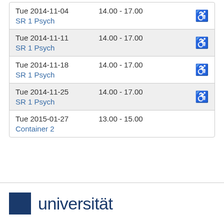| Date | Time | Location | Accessible |
| --- | --- | --- | --- |
| Tue 2014-11-04 | 14.00 - 17.00 | SR 1 Psych | ♿ |
| Tue 2014-11-11 | 14.00 - 17.00 | SR 1 Psych | ♿ |
| Tue 2014-11-18 | 14.00 - 17.00 | SR 1 Psych | ♿ |
| Tue 2014-11-25 | 14.00 - 17.00 | SR 1 Psych | ♿ |
| Tue 2015-01-27 | 13.00 - 15.00 | Container 2 |  |
[Figure (logo): Universität logo with dark blue square and text 'universität' in dark blue sans-serif font]